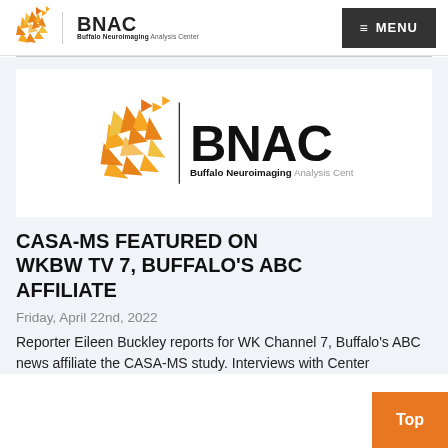BNAC — Buffalo Neuroimaging Analysis Center
[Figure (logo): BNAC Buffalo Neuroimaging Analysis Center logo with orange brain graphic]
CASA-MS FEATURED ON WKBW TV 7, BUFFALO'S ABC AFFILIATE
Friday, April 22nd, 2022
Reporter Eileen Buckley reports for WK Channel 7, Buffalo's ABC news affiliate the CASA-MS study. Interviews with Center